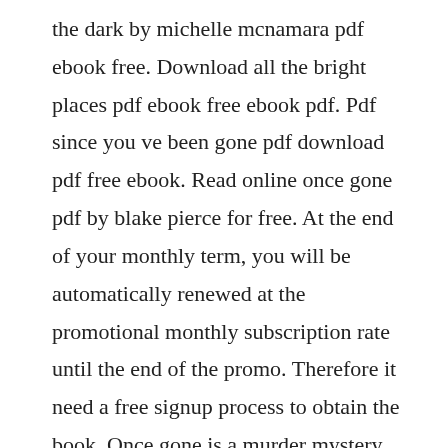the dark by michelle mcnamara pdf ebook free. Download all the bright places pdf ebook free ebook pdf. Pdf since you ve been gone pdf download pdf free ebook. Read online once gone pdf by blake pierce for free. At the end of your monthly term, you will be automatically renewed at the promotional monthly subscription rate until the end of the promo. Therefore it need a free signup process to obtain the book. Once gone is a murder mystery book that takes place in the state that i actually live in. Download for offline